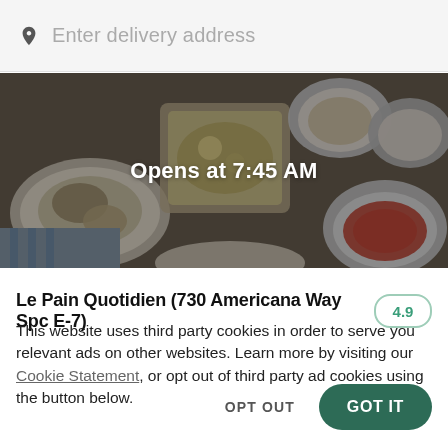Enter delivery address
[Figure (photo): Food photo showing various dishes with dark overlay. Text overlay reads 'Opens at 7:45 AM']
Le Pain Quotidien (730 Americana Way Spc E-7)
This website uses third party cookies in order to serve you relevant ads on other websites. Learn more by visiting our Cookie Statement, or opt out of third party ad cookies using the button below.
OPT OUT
GOT IT